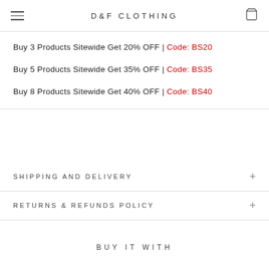D&F CLOTHING
Buy 3 Products Sitewide Get 20% OFF | Code: BS20
Buy 5 Products Sitewide Get 35% OFF | Code: BS35
Buy 8 Products Sitewide Get 40% OFF | Code: BS40
SHIPPING AND DELIVERY
RETURNS & REFUNDS POLICY
BUY IT WITH